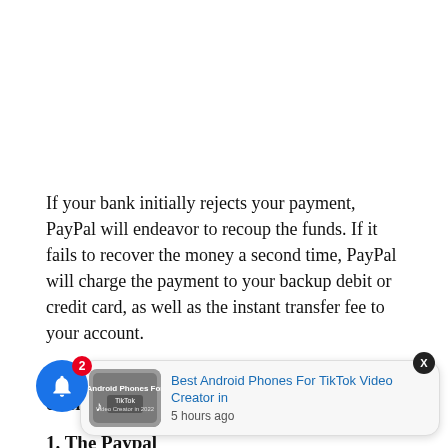If your bank initially rejects your payment, PayPal will endeavor to recoup the funds. If it fails to recover the money a second time, PayPal will charge the payment to your backup debit or credit card, as well as the instant transfer fee to your account.
The guideline below will explain the process of creating an instant transfer with PayPal.
1. The Paypal
"Send & Request" to learn more about how Paypal instant transfer works.